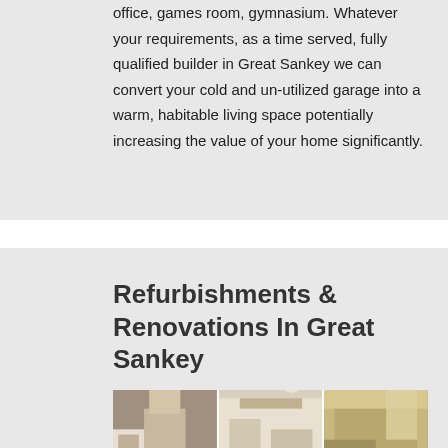office, games room, gymnasium. Whatever your requirements, as a time served, fully qualified builder in Great Sankey we can convert your cold and un-utilized garage into a warm, habitable living space potentially increasing the value of your home significantly.
Refurbishments & Renovations In Great Sankey
[Figure (photo): Three side-by-side before/after renovation photos showing interior rooms]